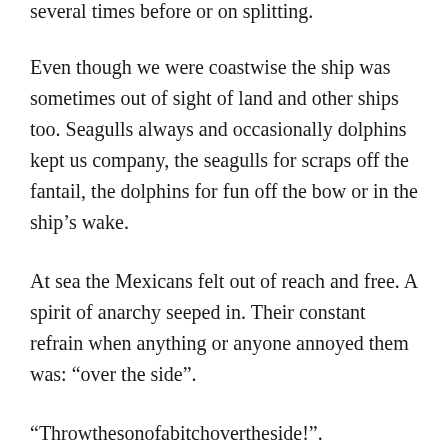several times before or on splitting.
Even though we were coastwise the ship was sometimes out of sight of land and other ships too. Seagulls always and occasionally dolphins kept us company, the seagulls for scraps off the fantail, the dolphins for fun off the bow or in the ship’s wake.
At sea the Mexicans felt out of reach and free. A spirit of anarchy seeped in. Their constant refrain when anything or anyone annoyed them was: “over the side”.
“Throwthesonofabitchovertheside!”.
And stuff did go over, from garbage to old chairs to the rare dish they didn’t like. But no people, to my knowledge.